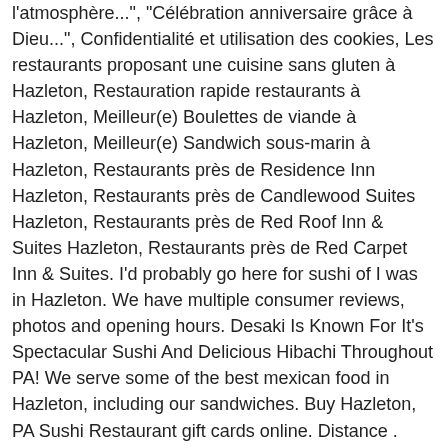l'atmosphère...", "Célébration anniversaire grâce à Dieu...", Confidentialité et utilisation des cookies, Les restaurants proposant une cuisine sans gluten à Hazleton, Restauration rapide restaurants à Hazleton, Meilleur(e) Boulettes de viande à Hazleton, Meilleur(e) Sandwich sous-marin à Hazleton, Restaurants près de Residence Inn Hazleton, Restaurants près de Candlewood Suites Hazleton, Restaurants près de Red Roof Inn & Suites Hazleton, Restaurants près de Red Carpet Inn & Suites. I'd probably go here for sushi of I was in Hazleton. We have multiple consumer reviews, photos and opening hours. Desaki Is Known For It's Spectacular Sushi And Delicious Hibachi Throughout PA! We serve some of the best mexican food in Hazleton, including our sandwiches. Buy Hazleton, PA Sushi Restaurant gift cards online. Distance . $50.95. Sushi Restaurants in Hazleton, Pennsylvania. Best Sushi Restaurants In Hazleton, PA: Last Updated: Apr 1, 2020: Sort: Mirakuya Japanese Restaurant . Vintage Christmas Matchbooks Matches Lot x12 - Made in Japan - W/ Original Box! Hazleton, PA 18202